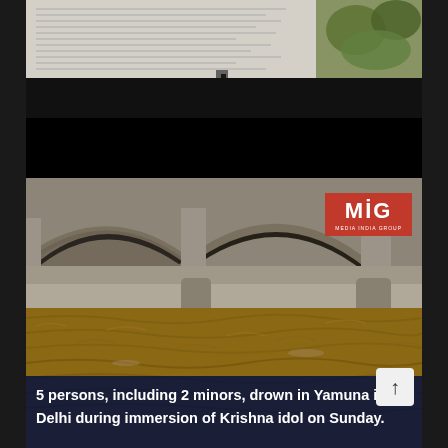[Figure (screenshot): Partial view of a document or newspaper page, partially visible at the top — appears to show printed text on white paper with some green foliage in background]
[Figure (photo): Flooded river scene showing a concrete bridge with multiple arches, murky brown floodwater rushing beneath. MIG (Media India Group) logo watermark in top right corner. Caption overlay at bottom reads: '5 persons, including 2 minors, drown in Yamuna in Delhi during immersion of Krishna idol on Sunday.']